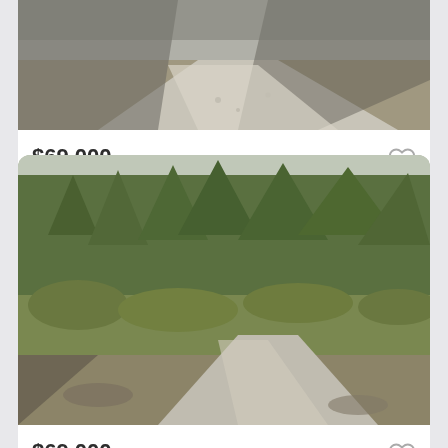[Figure (photo): Aerial or close-up view of a dirt/gravel road with shadows, pine trees, outdoor property lot]
$69,000
1428 Bernina Drive, Pine Mountain Club, CA
Courtesy of Kurtis East
[Figure (photo): Wooded lot with tall pine trees, shrubs, gravel driveway, outdoor property in Pine Mountain Club]
$69,000
1428 Bernina Drive, Pine Mountain Club,